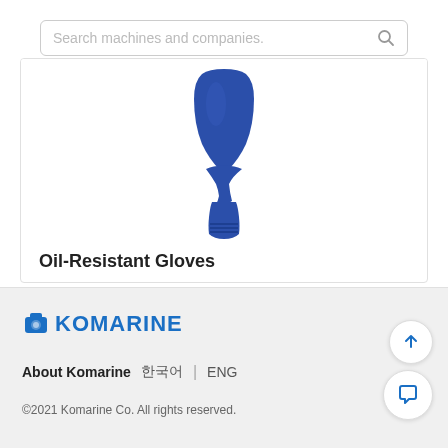Search machines and companies.
[Figure (photo): Blue oil-resistant rubber glove, showing the wrist/cuff portion, shaped like an hourglass with ribbed bottom edge, on white background]
Oil-Resistant Gloves
No.630W
KOMARINE | About Komarine  한국어 | ENG | ©2021 Komarine Co. All rights reserved.